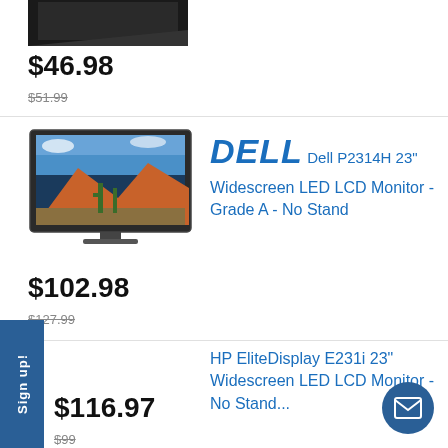[Figure (photo): Partial top view of a monitor (cropped), dark screen]
$46.98
$51.99
[Figure (photo): Dell P2314H 23 inch monitor displaying landscape with mountains and cactus]
DELL  Dell P2314H 23" Widescreen LED LCD Monitor - Grade A - No Stand
$102.98
$127.99
HP EliteDisplay E231i 23" Widescreen LED LCD Monitor - No Stand...
$116.97
$99
Sign up!